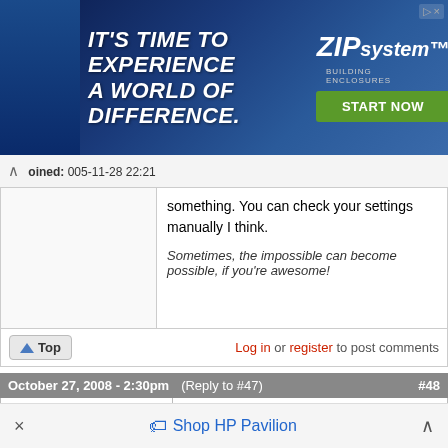[Figure (infographic): Advertisement banner: IT'S TIME TO EXPERIENCE A WORLD OF DIFFERENCE. ZIP System Building Enclosures. START NOW button.]
Joined: 2005-11-28 22:21
something. You can check your settings manually I think.
Sometimes, the impossible can become possible, if you're awesome!
Log in or register to post comments
October 27, 2008 - 2:30pm (Reply to #47) #48
alanbcohen
Offline
Last seen: 3 years 1 week ago
Joined: 2006-01-04 10:47
thanks for the reply John. I
thanks for the reply John. I am aware that Mod 34 is not supported, but I thought complete info would better help debug the problem. [[With a 320gb drive and many PAF
× Shop HP Pavilion ^